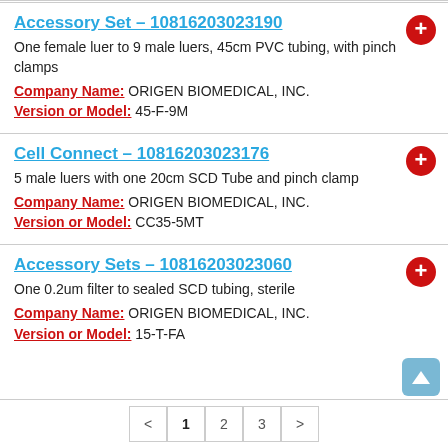Accessory Set – 10816203023190
One female luer to 9 male luers, 45cm PVC tubing, with pinch clamps
Company Name: ORIGEN BIOMEDICAL, INC.
Version or Model: 45-F-9M
Cell Connect – 10816203023176
5 male luers with one 20cm SCD Tube and pinch clamp
Company Name: ORIGEN BIOMEDICAL, INC.
Version or Model: CC35-5MT
Accessory Sets – 10816203023060
One 0.2um filter to sealed SCD tubing, sterile
Company Name: ORIGEN BIOMEDICAL, INC.
Version or Model: 15-T-FA
< 1 2 3 >